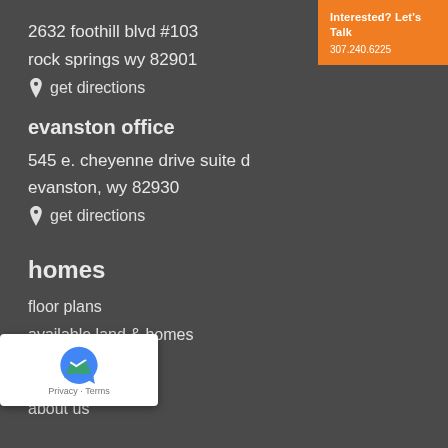2632 foothill blvd #103
rock springs wy 82901
get directions
evanston office
545 e. cheyenne drive suite d
evanston, wy 82930
get directions
homes
floor plans
available land & homes
t us
about us
Interested? Let's Talk
307.240.6225